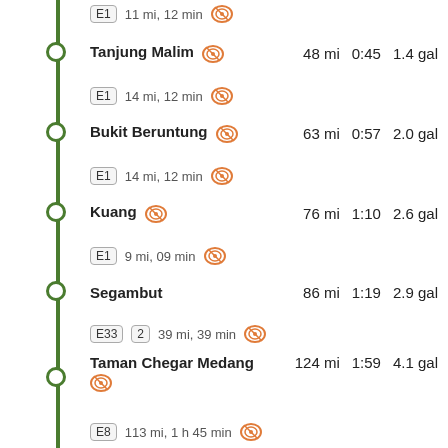E1  11 mi, 12 min [toll] (partial, top)
Tanjung Malim [toll]  48 mi  0:45  1.4 gal
E1  14 mi, 12 min [toll]
Bukit Beruntung [toll]  63 mi  0:57  2.0 gal
E1  14 mi, 12 min [toll]
Kuang [toll]  76 mi  1:10  2.6 gal
E1  9 mi, 09 min [toll]
Segambut  86 mi  1:19  2.9 gal
E33  2  39 mi, 39 min [toll]
Taman Chegar Medang [toll]  124 mi  1:59  4.1 gal
E8  113 mi, 1 h 45 min [toll] (partial, bottom)